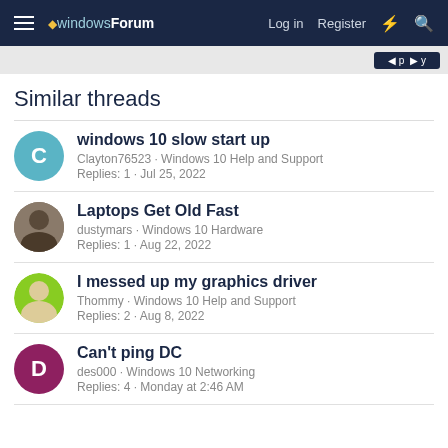windowsForum — Log in  Register
Similar threads
windows 10 slow start up
Clayton76523 · Windows 10 Help and Support
Replies: 1 · Jul 25, 2022
Laptops Get Old Fast
dustymars · Windows 10 Hardware
Replies: 1 · Aug 22, 2022
I messed up my graphics driver
Thommy · Windows 10 Help and Support
Replies: 2 · Aug 8, 2022
Can't ping DC
des000 · Windows 10 Networking
Replies: 4 · Monday at 2:46 AM